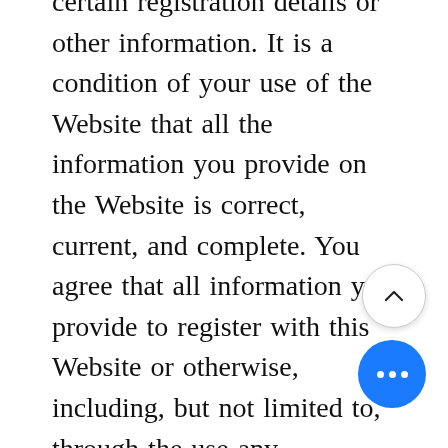certain registration details or other information. It is a condition of your use of the Website that all the information you provide on the Website is correct, current, and complete. You agree that all information you provide to register with this Website or otherwise, including, but not limited to, through the use any interactive features on the Website, is governed by our Privacy Polic...